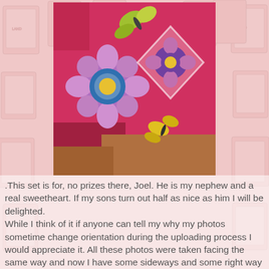[Figure (photo): Photo of a bright pink/red children's garment or fabric with colorful flower, butterfly, and diamond applique designs on it. The fabric is laid on what appears to be a wooden surface.]
.This set is for, no prizes there, Joel.  He is my nephew and a real sweetheart.  If my sons turn out half as nice as him I will be delighted.
While I think of it if anyone can tell my why my photos sometime change orientation during the uploading process I would appreciate it.  All these photos were taken facing the same way and now I have some sideways and some right way up and I can't work out how to fix it.  Most annoying.  I hope you are not getting a stiff neck!
I had to find a pot holder design that wasn't too girly and as Joel helps out on his step dad's sheep farm regularly I